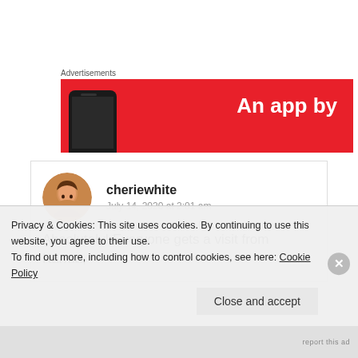Advertisements
[Figure (screenshot): Red advertisement banner with text 'An app by' in white bold font and a dark smartphone visible on the left side]
[Figure (photo): Round avatar image of a woman with brown hair]
cheriewhite
July 14, 2020 at 2:01 am
Absolutely! Everyone gets a visit from Karma,
Privacy & Cookies: This site uses cookies. By continuing to use this website, you agree to their use.
To find out more, including how to control cookies, see here: Cookie Policy
Close and accept